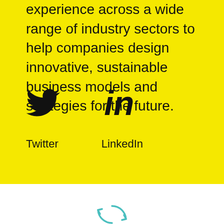experience across a wide range of industry sectors to help companies design innovative, sustainable business models and strategies for the future.
[Figure (logo): Twitter bird icon and LinkedIn 'in' icon, social media logos in black on yellow background, with labels 'Twitter' and 'LinkedIn' below]
[Figure (other): Partial circular arrow icon in teal/cyan at bottom of page on white background]